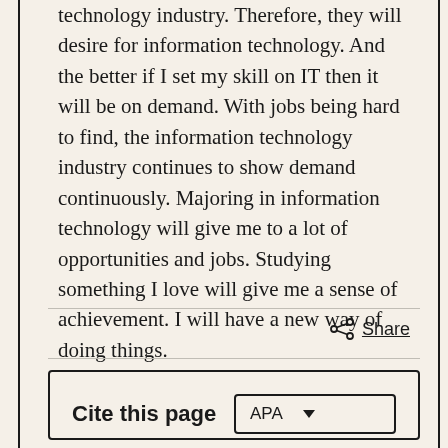technology industry. Therefore, they will desire for information technology. And the better if I set my skill on IT then it will be on demand. With jobs being hard to find, the information technology industry continues to show demand continuously. Majoring in information technology will give me to a lot of opportunities and jobs. Studying something I love will give me a sense of achievement. I will have a new way of doing things.
Share
Cite this page